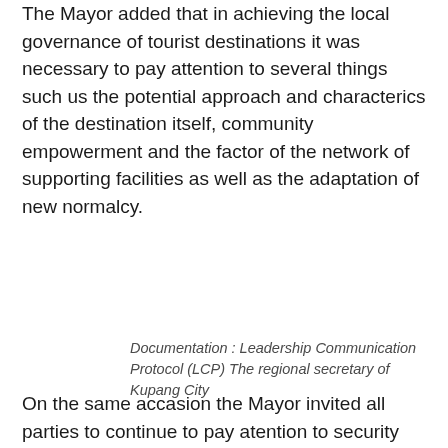The Mayor added that in achieving the local governance of tourist destinations it was necessary to pay attention to several things such us the potential approach and characterics of the destination itself, community empowerment and the factor of the network of supporting facilities as well as the adaptation of new normalcy.
Documentation : Leadership Communication Protocol (LCP) The regional secretary of Kupang City
On the same accasion the Mayor invited all parties to continue to pay atention to security and health aspects so that they